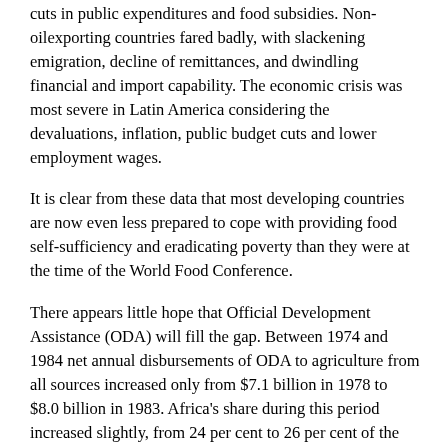cuts in public expenditures and food subsidies. Non-oilexporting countries fared badly, with slackening emigration, decline of remittances, and dwindling financial and import capability. The economic crisis was most severe in Latin America considering the devaluations, inflation, public budget cuts and lower employment wages.
It is clear from these data that most developing countries are now even less prepared to cope with providing food self-sufficiency and eradicating poverty than they were at the time of the World Food Conference.
There appears little hope that Official Development Assistance (ODA) will fill the gap. Between 1974 and 1984 net annual disbursements of ODA to agriculture from all sources increased only from $7.1 billion in 1978 to $8.0 billion in 1983. Africa's share during this period increased slightly, from 24 per cent to 26 per cent of the total. External private financial flows to agriculture took a nose-dive, especially in Africa and Latin America, and now represent about 15 per cent of the ODA total and are almost